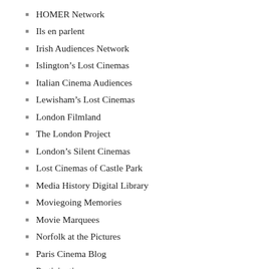HOMER Network
Ils en parlent
Irish Audiences Network
Islington's Lost Cinemas
Italian Cinema Audiences
Lewisham's Lost Cinemas
London Filmland
The London Project
London's Silent Cinemas
Lost Cinemas of Castle Park
Media History Digital Library
Moviegoing Memories
Movie Marquees
Norfolk at the Pictures
Paris Cinema Blog
Participations
Picture Palaces